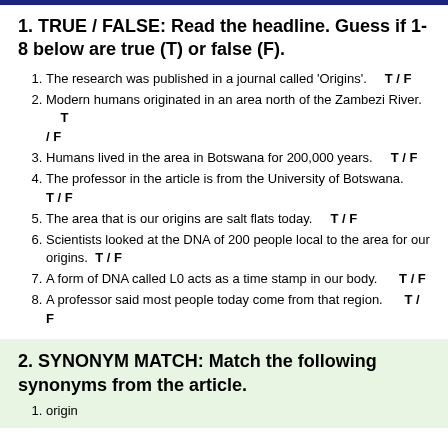1. TRUE / FALSE: Read the headline. Guess if 1-8 below are true (T) or false (F).
The research was published in a journal called 'Origins'.    T / F
Modern humans originated in an area north of the Zambezi River.    T / F
Humans lived in the area in Botswana for 200,000 years.    T / F
The professor in the article is from the University of Botswana.    T / F
The area that is our origins are salt flats today.    T / F
Scientists looked at the DNA of 200 people local to the area for our origins.  T / F
A form of DNA called L0 acts as a time stamp in our body.    T / F
A professor said most people today come from that region.    T / F
2. SYNONYM MATCH: Match the following synonyms from the article.
origin